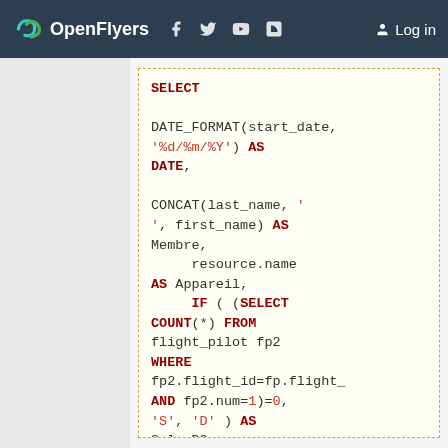OpenFlyers — Log in
SELECT DATE_FORMAT(start_date, '%d/%m/%Y') AS DATE, CONCAT(last_name, ' ', first_name) AS Membre, resource.name AS Appareil, IF ( (SELECT COUNT(*) FROM flight_pilot fp2 WHERE fp2.flight_id=fp.flight_ AND fp2.num=1)=0, 'S', 'D' ) AS Solo_DC, ( SELECT CONCAT(person.last_name, ' ' , person.first_name) AS Instructeur